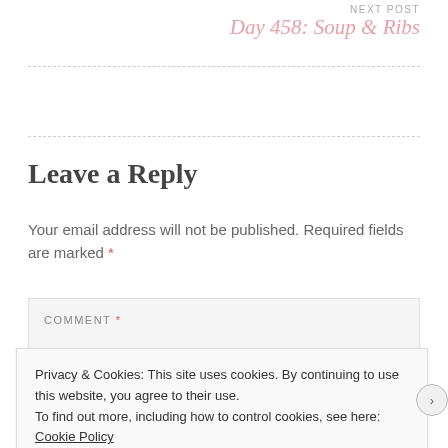NEXT POST
Day 458: Soup & Ribs
Leave a Reply
Your email address will not be published. Required fields are marked *
COMMENT *
Privacy & Cookies: This site uses cookies. By continuing to use this website, you agree to their use.
To find out more, including how to control cookies, see here: Cookie Policy
Close and accept